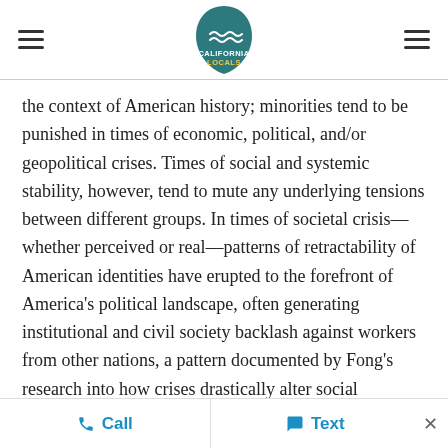California Locals (logo with hamburger menus)
the context of American history; minorities tend to be punished in times of economic, political, and/or geopolitical crises. Times of social and systemic stability, however, tend to mute any underlying tensions between different groups. In times of societal crisis—whether perceived or real—patterns of retractability of American identities have erupted to the forefront of America's political landscape, often generating institutional and civil society backlash against workers from other nations, a pattern documented by Fong's research into how crises drastically alter social relationships.[57]
Call   Text